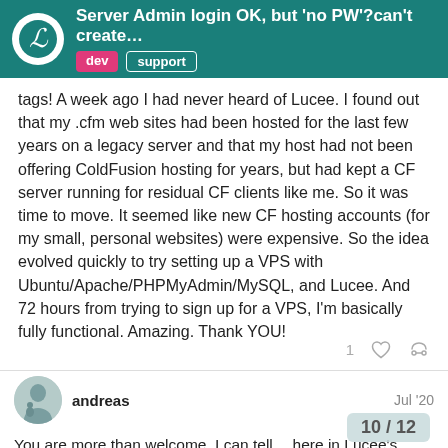Server Admin login OK, but 'no PW'?can't create…  [dev] [support]
tags! A week ago I had never heard of Lucee. I found out that my .cfm web sites had been hosted for the last few years on a legacy server and that my host had not been offering ColdFusion hosting for years, but had kept a CF server running for residual CF clients like me. So it was time to move. It seemed like new CF hosting accounts (for my small, personal websites) were expensive. So the idea evolved quickly to try setting up a VPS with Ubuntu/Apache/PHPMyAdmin/MySQL, and Lucee. And 72 hours from trying to sign up for a VPS, I'm basically fully functional. Amazing. Thank YOU!
andreas  Jul '20
You are more than welcome. I can tell… here in Lucee's support forum you are in very good hands. As you @cfmitrah , who is very busy developing w